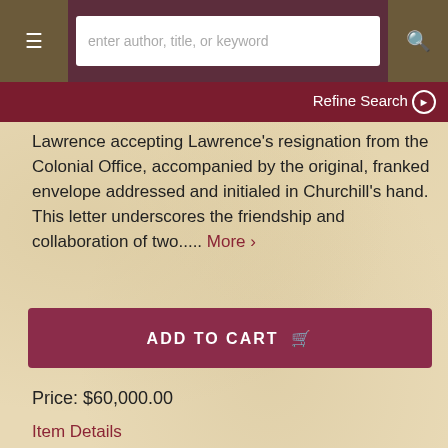enter author, title, or keyword
Refine Search
Lawrence accepting Lawrence's resignation from the Colonial Office, accompanied by the original, franked envelope addressed and initialed in Churchill's hand. This letter underscores the friendship and collaboration of two..... More >
ADD TO CART
Price: $60,000.00
Item Details
Ask a Question
[Figure (photo): Partial view of a document/manuscript with handwritten or printed text, appearing aged and historical.]